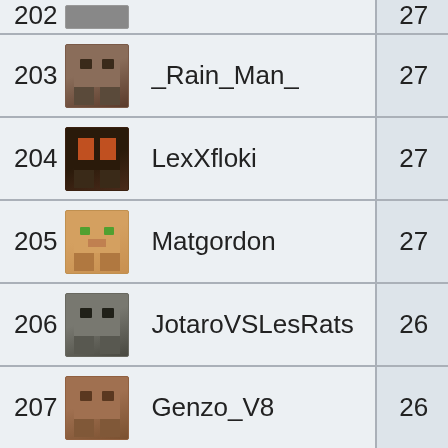| Rank | Avatar | Name | Score |
| --- | --- | --- | --- |
| 203 |  | _Rain_Man_ | 27 |
| 204 |  | LexXfloki | 27 |
| 205 |  | Matgordon | 27 |
| 206 |  | JotaroVSLesRats | 26 |
| 207 |  | Genzo_V8 | 26 |
| 208 |  | _Zatsune_ | 26 |
| 209 |  | Gwennax | 26 |
| 210 |  | Dose81 | 26 |
| 211 |  | Elfique1998 | 26 |
| 212 |  | Zguegric | 26 |
| 213 |  | BluePyy | 26 |
| 214 |  | Arkosthunders | 26 |